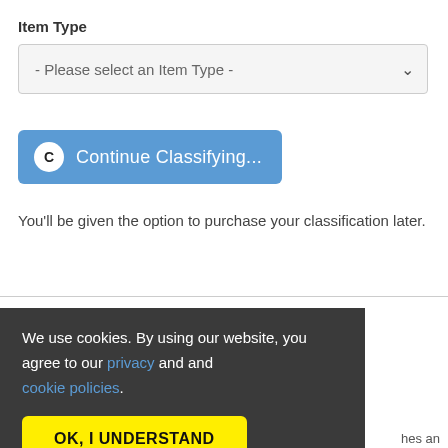Item Type
[Figure (screenshot): Dropdown selector with placeholder text '- Please select an Item Type -' and a chevron arrow on the right]
[Figure (screenshot): Blue button with white circle 'C' icon and text 'Continue Classifying...']
You'll be given the option to purchase your classification later.
We use cookies. By using our website, you agree to our privacy and cookie policies.
[Figure (screenshot): Yellow button with bold black text 'OK, I UNDERSTAND']
hes an